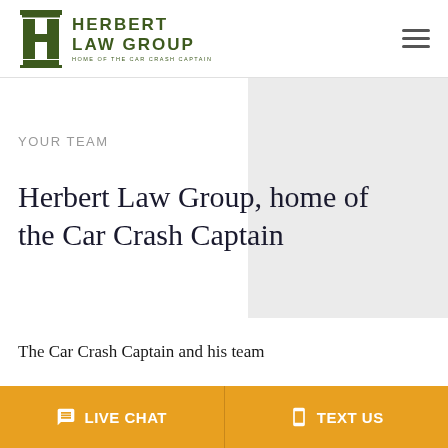[Figure (logo): Herbert Law Group logo with stylized H pillar icon in dark olive green and text 'HERBERT LAW GROUP - HOME OF THE CAR CRASH CAPTAIN']
YOUR TEAM
Herbert Law Group, home of the Car Crash Captain
The Car Crash Captain and his team
LIVE CHAT
TEXT US